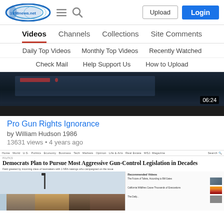1938news.net — Upload | Login
Videos | Channels | Collections | Site Comments
Daily Top Videos | Monthly Top Videos | Recently Watched
Check Mail | Help Support Us | How to Upload
[Figure (screenshot): Video thumbnail showing a dark laptop/monitor screen with duration 06:24]
Pro Gun Rights Ignorance
by William Hudson 1986
13631 views • 4 years ago
[Figure (screenshot): Video thumbnail showing a screenshot of a news article: 'Democrats Plan to Pursue Most Aggressive Gun-Control Legislation in Decades' with photos of women and a sidebar of recommended videos]